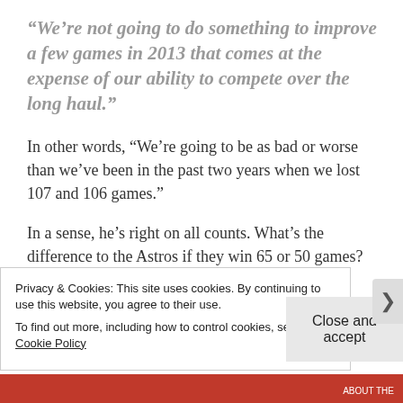“We’re not going to do something to improve a few games in 2013 that comes at the expense of our ability to compete over the long haul.”
In other words, “We’re going to be as bad or worse than we’ve been in the past two years when we lost 107 and 106 games.”
In a sense, he’s right on all counts. What’s the difference to the Astros if they win 65 or 50 games? But there’s something untoward about a team not even putting forth the affectation of caring whether
Privacy & Cookies: This site uses cookies. By continuing to use this website, you agree to their use.
To find out more, including how to control cookies, see here: Cookie Policy
Close and accept